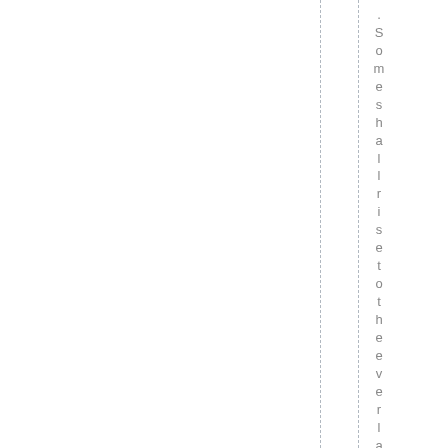.Someshallrisetotheeeverlasting